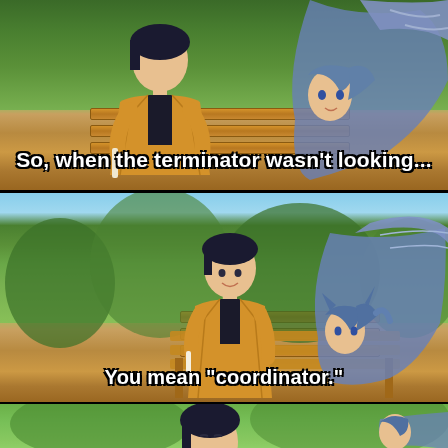[Figure (illustration): Three-panel anime screenshot meme. Panel 1 (top): Close-up of two anime characters sitting on a park bench outdoors. The character on the left wears a yellow jacket and holds what appears to be a stick/popsicle. The character on the right has blue hair with wing-like features. Subtitle reads: 'So, when the terminator wasn't looking...'. Panel 2 (middle): Wider shot of same scene with both characters visible more fully at park bench surrounded by trees. Subtitle reads: 'You mean "coordinator."'. Panel 3 (bottom): Close-up of the dark-haired character's face with part of the blue-haired character visible.]
So, when the terminator wasn't looking...
You mean "coordinator."